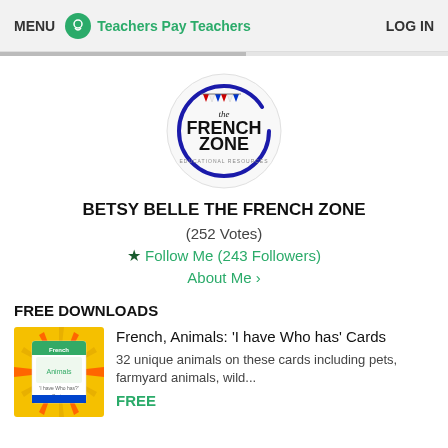MENU  Teachers Pay Teachers  LOG IN
[Figure (logo): The French Zone circular logo with blue hand-drawn circle, bunting flags, and bold text reading 'the FRENCH ZONE']
BETSY BELLE THE FRENCH ZONE
(252 Votes)
★ Follow Me (243 Followers)
About Me ›
FREE DOWNLOADS
[Figure (photo): Thumbnail image for French Animals 'I have Who has' Cards with colorful sunburst background and animal cards]
French, Animals: 'I have Who has' Cards
32 unique animals on these cards including pets, farmyard animals, wild...
FREE